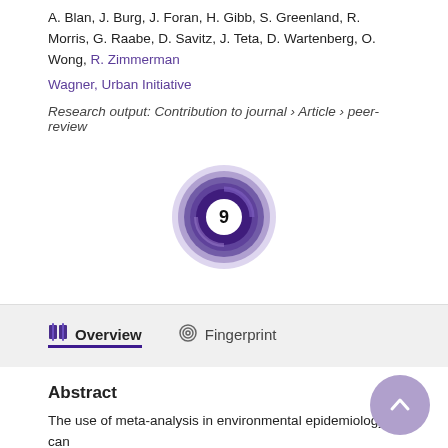A. Blan, J. Burg, J. Foran, H. Gibb, S. Greenland, R. Morris, G. Raabe, D. Savitz, J. Teta, D. Wartenberg, O. Wong, R. Zimmerman
Wagner, Urban Initiative
Research output: Contribution to journal › Article › peer-review
[Figure (infographic): Circular badge showing the number 9, styled with concentric purple/dark blue rings forming a donut/spiral shape around a white center circle containing the numeral 9 in black.]
Overview
Fingerprint
Abstract
The use of meta-analysis in environmental epidemiology can